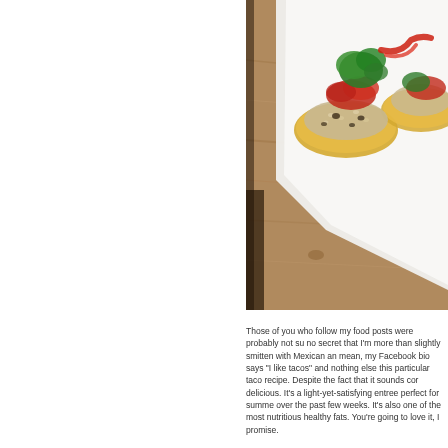[Figure (photo): Overhead photo of tacos with rice, beans, salsa, guacamole and lettuce on a white plate, placed on a wooden surface]
Those of you who follow my food posts were probably not su no secret that I'm more than slightly smitten with Mexican an mean, my Facebook bio says "I like tacos" and nothing else this particular taco recipe. Despite the fact that it sounds cor delicious. It's a light-yet-satisfying entree perfect for summe over the past few weeks. It's also one of the most nutritious healthy fats. You're going to love it, I promise.